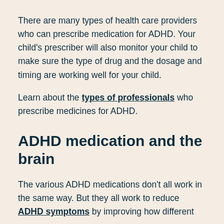There are many types of health care providers who can prescribe medication for ADHD. Your child's prescriber will also monitor your child to make sure the type of drug and the dosage and timing are working well for your child.
Learn about the types of professionals who prescribe medicines for ADHD.
ADHD medication and the brain
The various ADHD medications don't all work in the same way. But they all work to reduce ADHD symptoms by improving how different